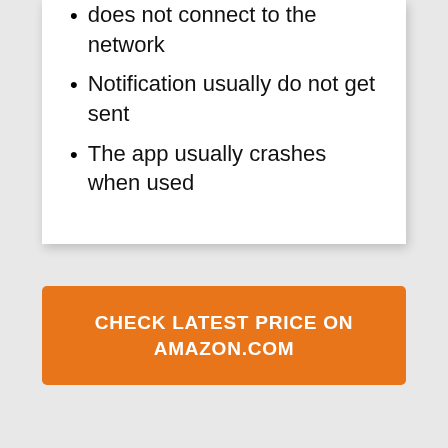Camera usually glitches and does not connect to the network
Notification usually do not get sent
The app usually crashes when used
CHECK LATEST PRICE ON AMAZON.COM